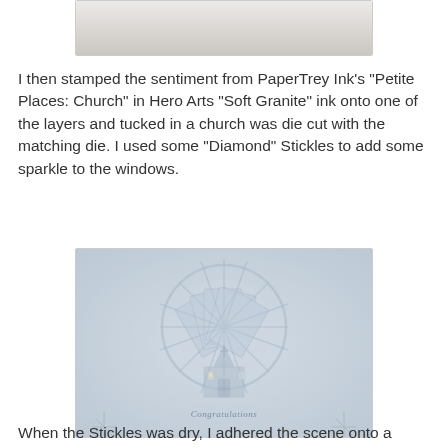[Figure (photo): Close-up photo of white embossed card top portion, light gray tones]
I then stamped the sentiment from PaperTrey Ink's "Petite Places: Church" in Hero Arts "Soft Granite" ink onto one of the layers and tucked in a church was die cut with the matching die. I used some "Diamond" Stickles to add some sparkle to the windows.
[Figure (photo): Photo of a white embossed card featuring a church scene with a Congratulations sentiment stamped in light gray ink, with sparkle on windows]
When the Stickles was dry, I adhered the scene onto a